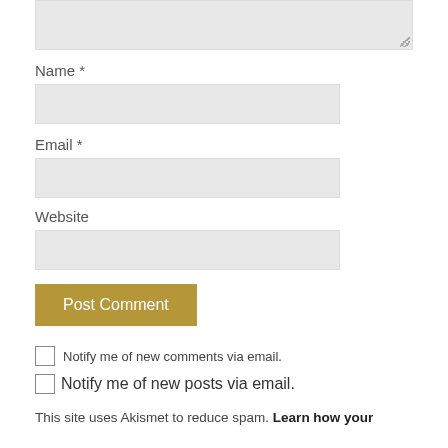[textarea top stub]
Name *
[Name input field]
Email *
[Email input field]
Website
[Website input field]
Post Comment
Notify me of new comments via email.
Notify me of new posts via email.
This site uses Akismet to reduce spam. Learn how your